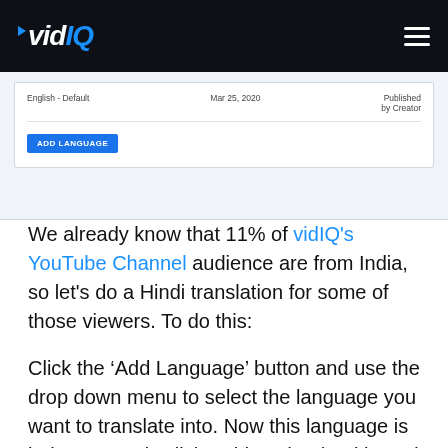vidIQ
[Figure (screenshot): Screenshot of a YouTube translation settings panel showing 'English - Default', 'Mar 25, 2020', 'Published by Creator' columns and an 'ADD LANGUAGE' blue button.]
We already know that 11% of vidIQ's YouTube Channel audience are from India, so let's do a Hindi translation for some of those viewers. To do this:
Click the ‘Add Language’ button and use the drop down menu to select the language you want to translate into. Now this language is being created. Click ‘Add’ under the title and description column, a pop up box will now